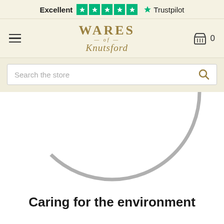Excellent ★★★★★ Trustpilot
[Figure (logo): Wares of Knutsford logo with hamburger menu on left and shopping cart with 0 on right]
Search the store
[Figure (illustration): Partial loading spinner arc (grey circle arc) visible in lower portion]
Caring for the environment